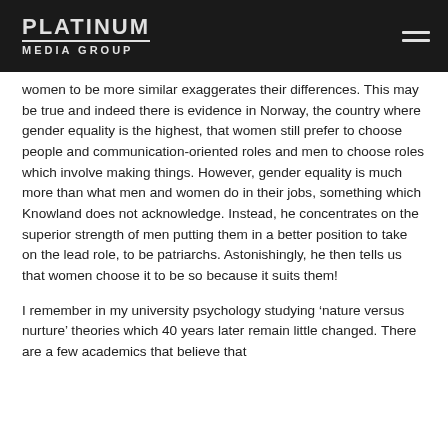PLATINUM MEDIA GROUP
women to be more similar exaggerates their differences. This may be true and indeed there is evidence in Norway, the country where gender equality is the highest, that women still prefer to choose people and communication-oriented roles and men to choose roles which involve making things. However, gender equality is much more than what men and women do in their jobs, something which Knowland does not acknowledge. Instead, he concentrates on the superior strength of men putting them in a better position to take on the lead role, to be patriarchs. Astonishingly, he then tells us that women choose it to be so because it suits them!
I remember in my university psychology studying ‘nature versus nurture’ theories which 40 years later remain little changed. There are a few academics that believe that